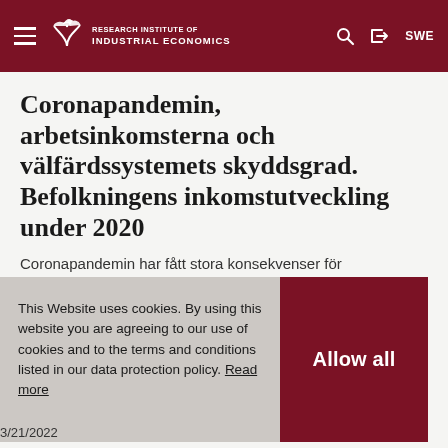Research Institute of Industrial Economics
Coronapandemin, arbetsinkomsterna och välfärdssystemets skyddsgrad. Befolkningens inkomstutveckling under 2020
Coronapandemin har fått stora konsekvenser för
This Website uses cookies. By using this website you are agreeing to our use of cookies and to the terms and conditions listed in our data protection policy. Read more
Allow all
3/21/2022